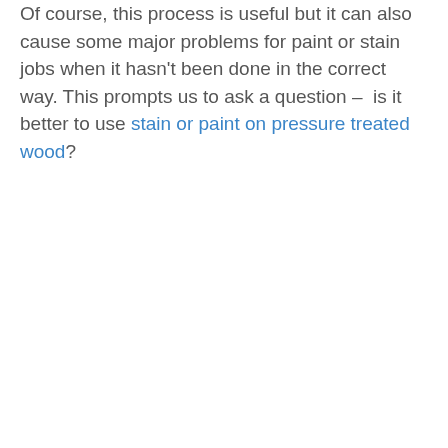Of course, this process is useful but it can also cause some major problems for paint or stain jobs when it hasn't been done in the correct way. This prompts us to ask a question –  is it better to use stain or paint on pressure treated wood?